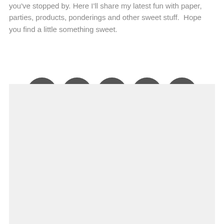you've stopped by. Here I'll share my latest fun with paper, parties, products, ponderings and other sweet stuff.  Hope you find a little something sweet.
[Figure (illustration): Five dark gray circular social media icons in a row: Instagram (camera), Facebook (f), Twitter (bird), Pinterest (P), Email (envelope)]
[Figure (other): Large light gray rectangle placeholder/image area]